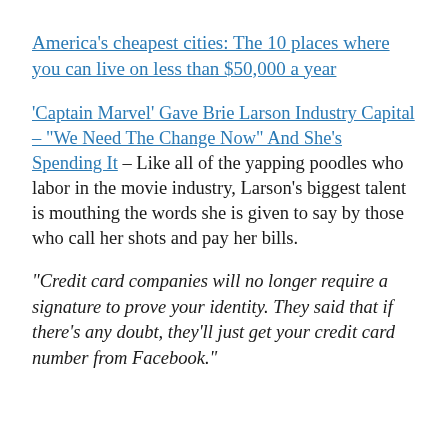America's cheapest cities: The 10 places where you can live on less than $50,000 a year
'Captain Marvel' Gave Brie Larson Industry Capital – "We Need The Change Now" And She's Spending It – Like all of the yapping poodles who labor in the movie industry, Larson's biggest talent is mouthing the words she is given to say by those who call her shots and pay her bills.
"Credit card companies will no longer require a signature to prove your identity. They said that if there's any doubt, they'll just get your credit card number from Facebook."